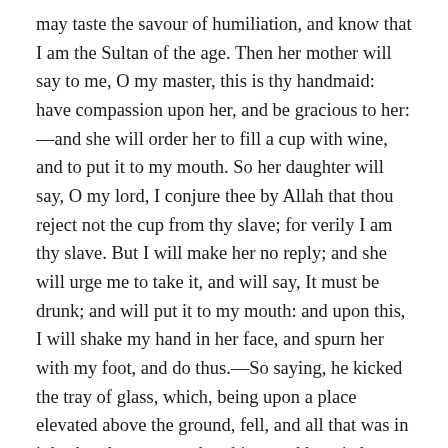may taste the savour of humiliation, and know that I am the Sultan of the age. Then her mother will say to me, O my master, this is thy handmaid: have compassion upon her, and be gracious to her:—and she will order her to fill a cup with wine, and to put it to my mouth. So her daughter will say, O my lord, I conjure thee by Allah that thou reject not the cup from thy slave; for verily I am thy slave. But I will make her no reply; and she will urge me to take it, and will say, It must be drunk; and will put it to my mouth: and upon this, I will shake my hand in her face, and spurn her with my foot, and do thus.—So saying, he kicked the tray of glass, which, being upon a place elevated above the ground, fell, and all that was in it broke: there escaped nothing: and he cried out and said, All this is the result of my pride! And he slapped his face, and tore his clothes; the passengers gazing at him, while he wept, and exclaimed, Ah! O my grief! The people were now repairing to perform the